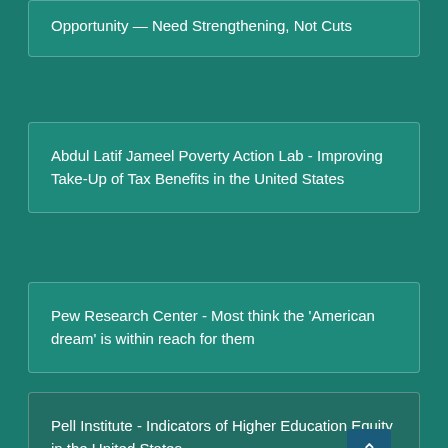Opportunity — Need Strengthening, Not Cuts
Abdul Latif Jameel Poverty Action Lab - Improving Take-Up of Tax Benefits in the United States
Pew Research Center - Most think the 'American dream' is within reach for them
Pell Institute - Indicators of Higher Education Equity in the United States